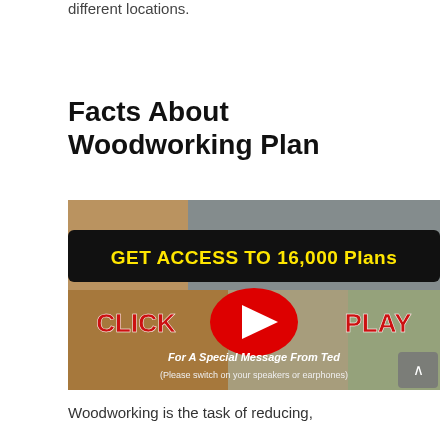different locations.
Facts About Woodworking Plan
[Figure (screenshot): Video thumbnail with woodworking images. Yellow text on black banner: 'GET ACCESS TO 16,000 Plans'. Red YouTube play button in center. Red bold text: 'CLICK' and 'PLAY'. White italic text: 'For A Special Message From Ted'. White text in parentheses: '(Please switch on your speakers or earphones)']
Woodworking is the task of reducing,